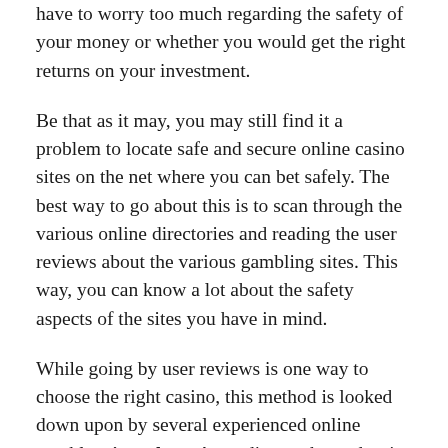have to worry too much regarding the safety of your money or whether you would get the right returns on your investment.
Be that as it may, you may still find it a problem to locate safe and secure online casino sites on the net where you can bet safely. The best way to go about this is to scan through the various online directories and reading the user reviews about the various gambling sites. This way, you can know a lot about the safety aspects of the sites you have in mind.
While going by user reviews is one way to choose the right casino, this method is looked down upon by several experienced online gamblers itupoker . According to them, despite the high user rankings, many of these sites may not be as safe as you imagined them to be. The only way out of this type confusing situation is to crosscheck the reviewed